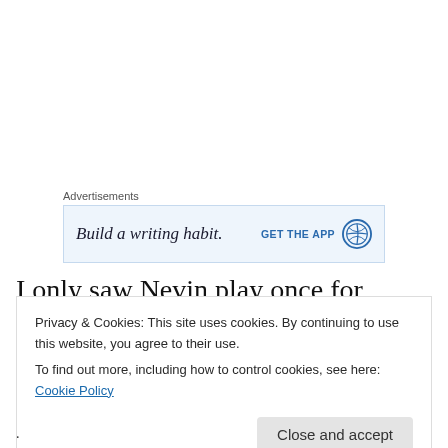Advertisements
[Figure (screenshot): WordPress advertisement banner: 'Build a writing habit.' with 'GET THE APP' call to action and WordPress logo]
I only saw Nevin play once for Chelsea, a 3-0 victory at Watford in 1988 about which I remember little, but his
Privacy & Cookies: This site uses cookies. By continuing to use this website, you agree to their use.
To find out more, including how to control cookies, see here: Cookie Policy
Close and accept